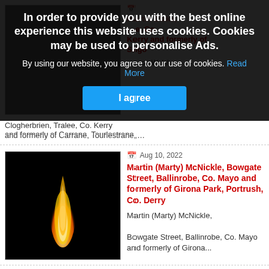[Figure (screenshot): Cookie consent overlay with dark background, bold white text, and blue 'I agree' button]
In order to provide you with the best online experience this website uses cookies. Cookies may be used to personalise Ads.
By using our website, you agree to our use of cookies. Read More
Martin (Marty) McNickle, Bowgate Street, Ballinrobe, Co. Mayo and formerly of Girona Park, Portrush, Co. Derry
Aug 10, 2022
Martin (Marty) McNickle, Bowgate Street, Ballinrobe, Co. Mayo and formerly of Girona...
[Figure (photo): Candle flame on black background]
Clogherbrien, Tralee, Co. Kerry and formerly of Carrane, Tourlestrane,…
mason Walsh, Clogherbrien, Tralee, Co. Kerry and formerly of Carrane, Tourlestrane,…